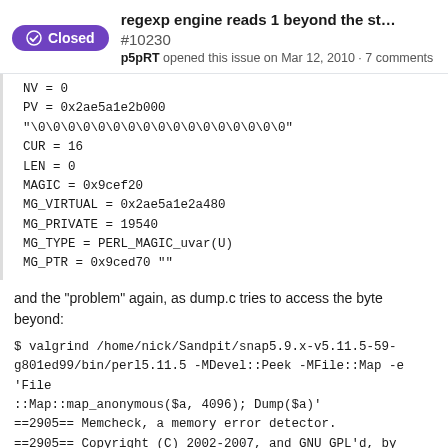regexp engine reads 1 beyond the st... #10230 p5pRT opened this issue on Mar 12, 2010 · 7 comments
NV = 0
PV = 0x2ae5a1e2b000 "\0\0\0\0\0\0\0\0\0\0\0\0\0\0\0\0\0"
CUR = 16
LEN = 0
MAGIC = 0x9cef20
MG_VIRTUAL = 0x2ae5a1e2a480
MG_PRIVATE = 19540
MG_TYPE = PERL_MAGIC_uvar(U)
MG_PTR = 0x9ced70 ""
and the "problem" again, as dump.c tries to access the byte beyond:
$ valgrind /home/nick/Sandpit/snap5.9.x-v5.11.5-59-g801ed99/bin/perl5.11.5 -MDevel::Peek -MFile::Map -e 'File::Map::map_anonymous($a, 4096); Dump($a)'
==2905== Memcheck, a memory error detector.
==2905== Copyright (C) 2002-2007, and GNU GPL'd, by Julian Seward et al.